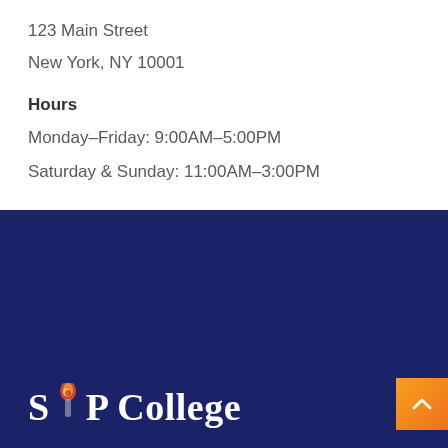123 Main Street
New York, NY 10001
Hours
Monday–Friday: 9:00AM–5:00PM
Saturday & Sunday: 11:00AM–3:00PM
[Figure (logo): SAP College logo with torch icon on dark navy background]
[Figure (other): Orange scroll-to-top button with chevron arrow]